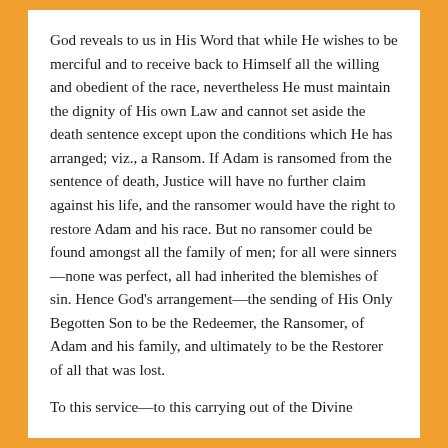God reveals to us in His Word that while He wishes to be merciful and to receive back to Himself all the willing and obedient of the race, nevertheless He must maintain the dignity of His own Law and cannot set aside the death sentence except upon the conditions which He has arranged; viz., a Ransom. If Adam is ransomed from the sentence of death, Justice will have no further claim against his life, and the ransomer would have the right to restore Adam and his race. But no ransomer could be found amongst all the family of men; for all were sinners—none was perfect, all had inherited the blemishes of sin. Hence God's arrangement—the sending of His Only Begotten Son to be the Redeemer, the Ransomer, of Adam and his family, and ultimately to be the Restorer of all that was lost.
To this service—to this carrying out of the Divine